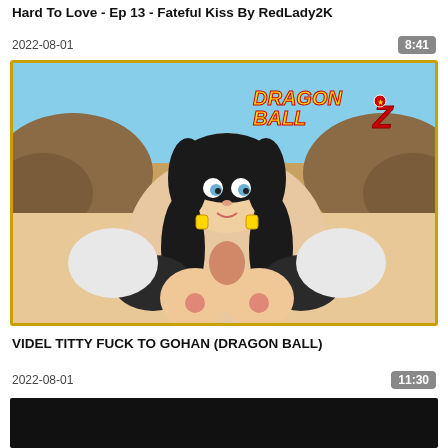Hard To Love - Ep 13 - Fateful Kiss By RedLady2K
2022-08-01
8:41
[Figure (illustration): Anime-style illustration with Dragon Ball Z logo and character Videl]
VIDEL TITTY FUCK TO GOHAN (DRAGON BALL)
2022-08-01
11:30
[Figure (screenshot): Partially visible thumbnail at bottom of page, dark/black background]